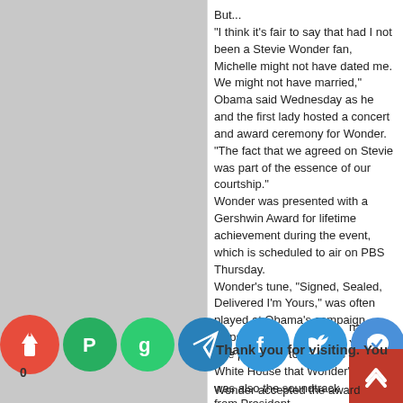But...
"I think it’s fair to say that had I not been a Stevie Wonder fan, Michelle might not have dated me. We might not have married," Obama said Wednesday as he and the first lady hosted a concert and award ceremony for Wonder.
"The fact that we agreed on Stevie was part of the essence of our courtship."
Wonder was presented with a Gershwin Award for lifetime achievement during the event, which is scheduled to air on PBS Thursday.
Wonder’s tune, "Signed, Sealed, Delivered I’m Yours," was often played at Obama’s campaign stops.
The president told guests at the White House that Wonder’s music was also the soundtrack
[Figure (screenshot): Social sharing icon bar with colored circles: red torch/cup icon, green Papaly icon, green Google icon, blue Telegram icon, blue Facebook icon, blue Twitter icon, blue Messenger icon, green SMS icon, green email icon, yellow/orange search icon]
Thank you for visiting. You
Wonder accepted the award from President